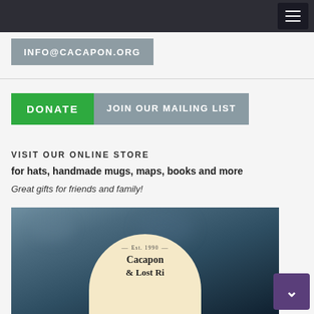INFO@CACAPON.ORG
DONATE  JOIN OUR MAILING LIST
VISIT OUR ONLINE STORE
for hats, handmade mugs, maps, books and more
Great gifts for friends and family!
[Figure (photo): Close-up of a handmade ceramic mug with a cream-colored label showing 'Est. 1990 Cacapon & Lost Ri...' text on a blue glazed background]